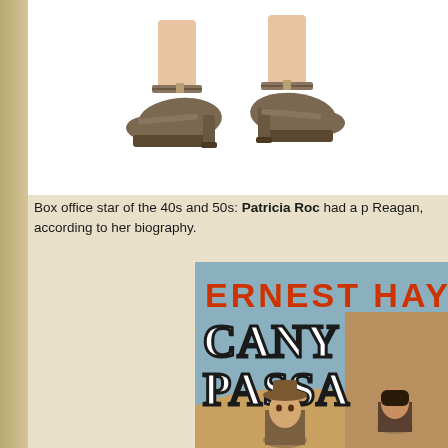[Figure (photo): Photo of women's high-heeled shoes with ankle straps, viewed from mid-calf down against a white background]
Box office star of the 40s and 50s: Patricia Roc had a p Reagan, according to her biography.
[Figure (photo): Book cover showing 'ERNEST HAY' (partially visible) and 'CANYON PASSA' (partially visible, Canyon Passage), with a man in a cowboy hat and another person on a desert/canyon background]